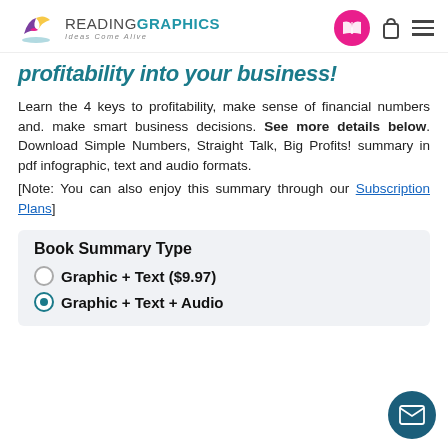READINGRAPHICS — Ideas Come Alive
profitability into your business!
Learn the 4 keys to profitability, make sense of financial numbers and. make smart business decisions. See more details below. Download Simple Numbers, Straight Talk, Big Profits! summary in pdf infographic, text and audio formats.
[Note: You can also enjoy this summary through our Subscription Plans]
Book Summary Type
Graphic + Text ($9.97)
Graphic + Text + Audio